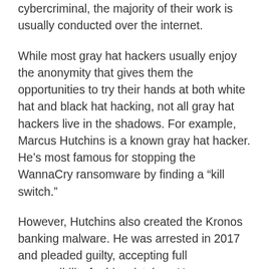cybercriminal, the majority of their work is usually conducted over the internet.
While most gray hat hackers usually enjoy the anonymity that gives them the opportunities to try their hands at both white hat and black hat hacking, not all gray hat hackers live in the shadows. For example, Marcus Hutchins is a known gray hat hacker. He’s most famous for stopping the WannaCry ransomware by finding a “kill switch.”
However, Hutchins also created the Kronos banking malware. He was arrested in 2017 and pleaded guilty, accepting full responsibility for his mistakes. He now uses his talent by working for